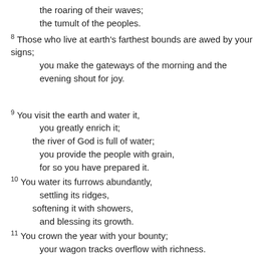the roaring of their waves;
the tumult of the peoples.
8 Those who live at earth's farthest bounds are awed by your signs; you make the gateways of the morning and the evening shout for joy.
9 You visit the earth and water it, you greatly enrich it; the river of God is full of water; you provide the people with grain, for so you have prepared it.
10 You water its furrows abundantly, settling its ridges, softening it with showers, and blessing its growth.
11 You crown the year with your bounty; your wagon tracks overflow with richness.